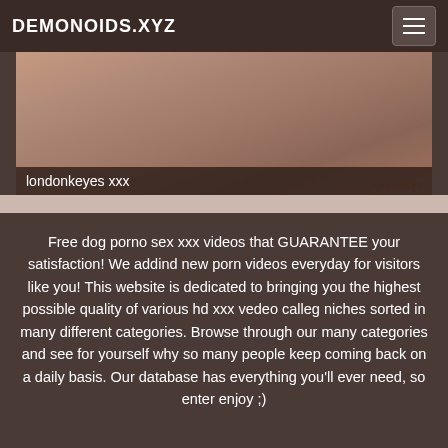DEMONOIDS.XYZ
[Figure (photo): Close-up image with an overlay label reading 'londonkeyes xxx']
londonkeyes xxx
Free dog porno sex xxx videos that GUARANTEE your satisfaction! We addind new porn videos everyday for visitors like you! This website is dedicated to bringing you the highest possible quality of various hd xxx vedeo calleg niches sorted in many different categories. Browse through our many categories and see for yourself why so many people keep coming back on a daily basis. Our database has everything you'll ever need, so enter enjoy ;)